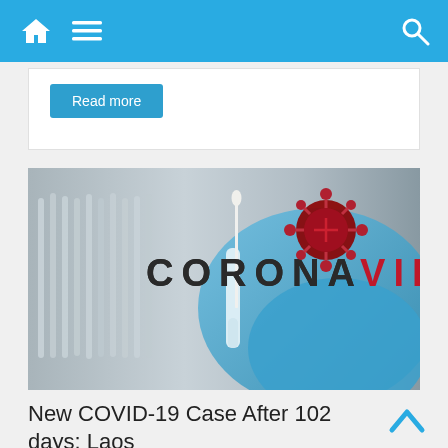Navigation bar with home, menu, and search icons
Read more
[Figure (photo): Coronavirus themed photo showing blue-gloved hand holding a test swab near glass test tubes, with the text CORONAVIRUS overlaid, the VIRUS portion in red, and a red coronavirus particle illustration on the right side of the image.]
New COVID-19 Case After 102 days: Laos